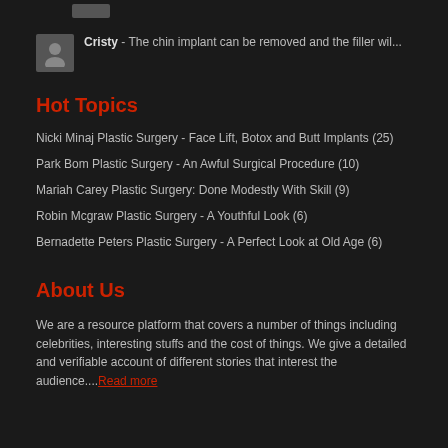Cristy - The chin implant can be removed and the filler wil...
Hot Topics
Nicki Minaj Plastic Surgery - Face Lift, Botox and Butt Implants (25)
Park Bom Plastic Surgery - An Awful Surgical Procedure (10)
Mariah Carey Plastic Surgery: Done Modestly With Skill (9)
Robin Mcgraw Plastic Surgery - A Youthful Look (6)
Bernadette Peters Plastic Surgery - A Perfect Look at Old Age (6)
About Us
We are a resource platform that covers a number of things including celebrities, interesting stuffs and the cost of things. We give a detailed and verifiable account of different stories that interest the audience....Read more